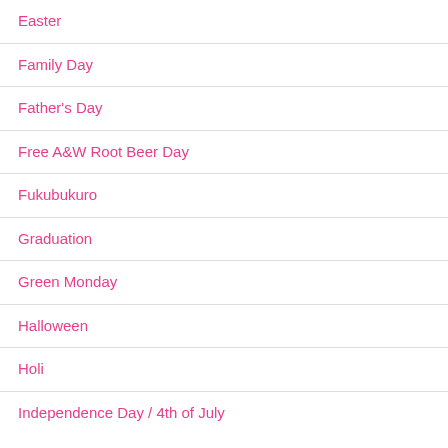Easter
Family Day
Father's Day
Free A&W Root Beer Day
Fukubukuro
Graduation
Green Monday
Halloween
Holi
Independence Day / 4th of July